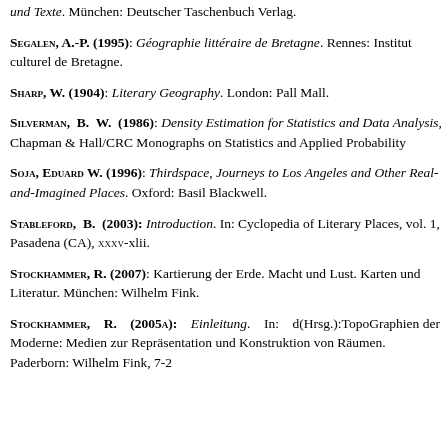und Texte. München: Deutscher Taschenbuch Verlag.
Segalen, A.-P. (1995): Géographie littéraire de Bretagne. Rennes: Institut culturel de Bretagne.
Sharp, W. (1904): Literary Geography. London: Pall Mall.
Silverman, B. W. (1986): Density Estimation for Statistics and Data Analysis, Chapman & Hall/CRC Monographs on Statistics and Applied Probability
Soja, Eduard W. (1996): Thirdspace, Journeys to Los Angeles and Other Real-and-Imagined Places. Oxford: Basil Blackwell.
Stableford, B. (2003): Introduction. In: Cyclopedia of Literary Places, vol. 1, Pasadena (CA), xxxv-xlii.
Stockhammer, R. (2007): Kartierung der Erde. Macht und Lust. Karten und Literatur. München: Wilhelm Fink.
Stockhammer, R. (2005a): Einleitung. In: d (Hrsg.):TopoGraphien der Moderne: Medien zur Repräsenta und Konstruktion von Räumen. Paderborn: Wilhelm Fink, 7-2